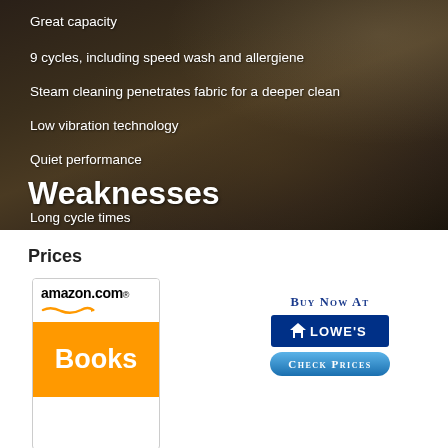Great capacity
9 cycles, including speed wash and allergiene
Steam cleaning penetrates fabric for a deeper clean
Low vibration technology
Quiet performance
Weaknesses
Long cycle times
Prices
[Figure (logo): Amazon.com Books logo - white top section with amazon.com text and smile arrow, orange bottom section with 'Books' in white bold text]
[Figure (logo): Lowe's Buy Now button - 'Buy Now At' text in blue small caps, Lowe's blue logo, and 'Check Prices' blue rounded button]